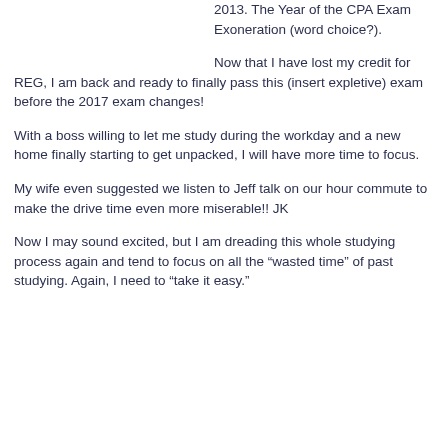2013. The Year of the CPA Exam Exoneration (word choice?).
Now that I have lost my credit for REG, I am back and ready to finally pass this (insert expletive) exam before the 2017 exam changes!
With a boss willing to let me study during the workday and a new home finally starting to get unpacked, I will have more time to focus.
My wife even suggested we listen to Jeff talk on our hour commute to make the drive time even more miserable!! JK
Now I may sound excited, but I am dreading this whole studying process again and tend to focus on all the “wasted time” of past studying. Again, I need to “take it easy.”